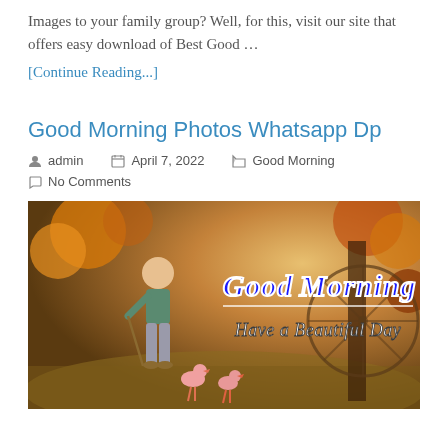Images to your family group? Well, for this, visit our site that offers easy download of Best Good …
[Continue Reading...]
Good Morning Photos Whatsapp Dp
admin   April 7, 2022   Good Morning   No Comments
[Figure (photo): A child walking outdoors with a stick leading ducks, with autumn foliage in background. Text overlay reads 'Good Morning – Have a Beautiful Day']